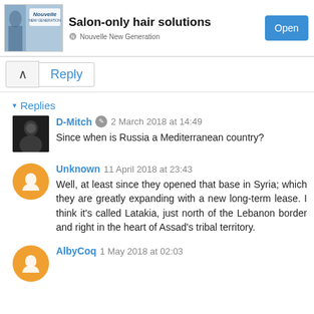[Figure (infographic): Advertisement banner: Nouvelle New Generation brand, showing salon hair product image on the left, bold text 'Salon-only hair solutions' in center, and a blue 'Open' button on the right.]
Reply
Replies
D-Mitch  2 March 2018 at 14:49
Since when is Russia a Mediterranean country?
Unknown  11 April 2018 at 23:43
Well, at least since they opened that base in Syria; which they are greatly expanding with a new long-term lease. I think it's called Latakia, just north of the Lebanon border and right in the heart of Assad's tribal territory.
AlbyCoq  1 May 2018 at 02:03